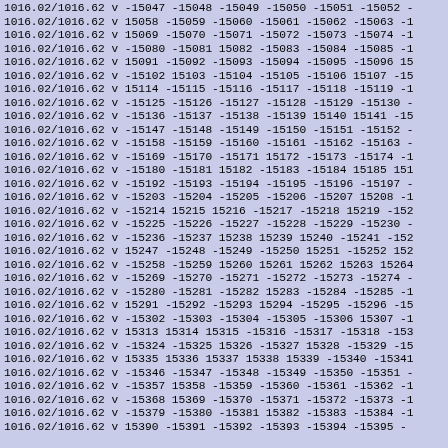1016.02/1016.62 v -15047 -15048 -15049 -15050 -15051 -15052 -
1016.02/1016.62 v 15058 -15059 -15060 -15061 -15062 -15063 -1
1016.02/1016.62 v 15069 -15070 -15071 -15072 -15073 -15074 -1
1016.02/1016.62 v -15080 -15081 15082 -15083 -15084 -15085 -1
1016.02/1016.62 v 15091 -15092 -15093 -15094 -15095 -15096 15
1016.02/1016.62 v -15102 15103 -15104 -15105 -15106 15107 -15
1016.02/1016.62 v 15114 -15115 -15116 -15117 -15118 -15119 -1
1016.02/1016.62 v -15125 -15126 -15127 -15128 -15129 -15130 -
1016.02/1016.62 v -15136 -15137 -15138 -15139 15140 15141 -15
1016.02/1016.62 v -15147 -15148 -15149 -15150 -15151 -15152 -
1016.02/1016.62 v -15158 -15159 -15160 -15161 -15162 -15163 -
1016.02/1016.62 v -15169 -15170 -15171 15172 -15173 -15174 -1
1016.02/1016.62 v -15180 -15181 15182 -15183 -15184 15185 151
1016.02/1016.62 v -15192 -15193 -15194 -15195 -15196 -15197 -
1016.02/1016.62 v -15203 -15204 -15205 -15206 -15207 15208 -1
1016.02/1016.62 v -15214 15215 15216 -15217 -15218 15219 -152
1016.02/1016.62 v -15225 -15226 -15227 -15228 -15229 -15230 -
1016.02/1016.62 v -15236 -15237 15238 15239 15240 -15241 -152
1016.02/1016.62 v 15247 -15248 -15249 -15250 15251 -15252 152
1016.02/1016.62 v -15258 -15259 15260 15261 15262 15263 15264
1016.02/1016.62 v -15269 -15270 -15271 -15272 -15273 -15274 -
1016.02/1016.62 v -15280 -15281 -15282 15283 -15284 -15285 -1
1016.02/1016.62 v 15291 -15292 -15293 15294 -15295 -15296 -15
1016.02/1016.62 v -15302 -15303 -15304 -15305 -15306 15307 -1
1016.02/1016.62 v 15313 15314 15315 -15316 -15317 -15318 -153
1016.02/1016.62 v -15324 -15325 15326 -15327 15328 -15329 -15
1016.02/1016.62 v 15335 15336 15337 15338 15339 -15340 -15341
1016.02/1016.62 v -15346 -15347 -15348 -15349 -15350 -15351 -
1016.02/1016.62 v -15357 15358 -15359 -15360 -15361 -15362 -1
1016.02/1016.62 v -15368 15369 -15370 -15371 -15372 -15373 -1
1016.02/1016.62 v -15379 -15380 -15381 15382 -15383 -15384 -1
1016.02/1016.62 v 15390 -15391 -15392 -15393 -15394 -15395 -